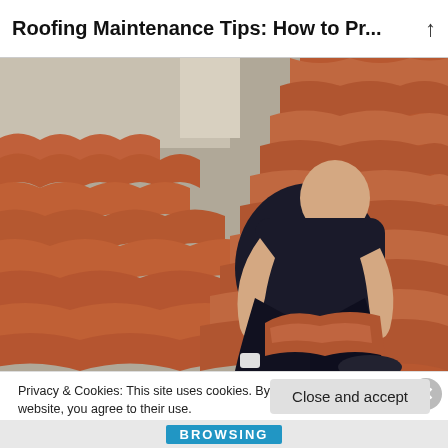Roofing Maintenance Tips: How to Pr...
[Figure (photo): A worker in black clothing sitting on a terracotta/red tiled roof, handling/installing a roof tile or ridge piece with both hands. The roof tiles are orange-red clay tiles arranged in diagonal rows.]
Privacy & Cookies: This site uses cookies. By continuing to use this website, you agree to their use.
To find out more, including how to control cookies, see here: Cookie Policy
Close and accept